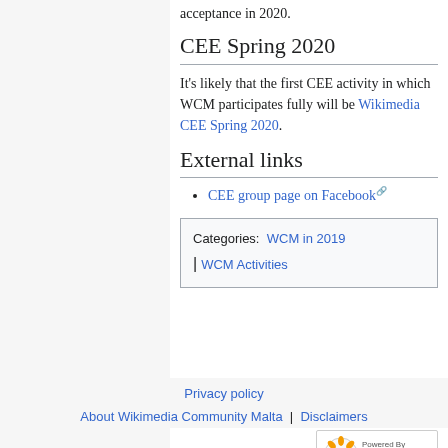acceptance in 2020.
CEE Spring 2020
It's likely that the first CEE activity in which WCM participates fully will be Wikimedia CEE Spring 2020.
External links
CEE group page on Facebook
| Categories:  WCM in 2019 | WCM Activities |
Privacy policy
About Wikimedia Community Malta | Disclaimers